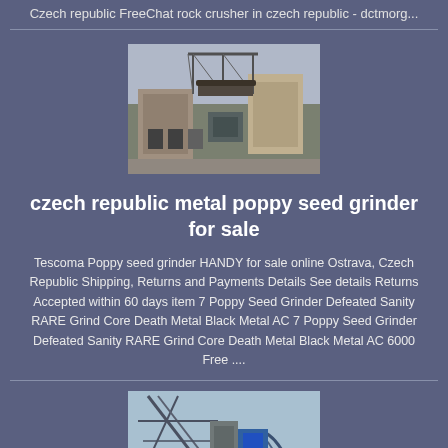Czech republic FreeChat rock crusher in czech republic - dctmorg...
[Figure (photo): Industrial rock crushing facility with machinery and stone building structures]
czech republic metal poppy seed grinder for sale
Tescoma Poppy seed grinder HANDY for sale online Ostrava, Czech Republic Shipping, Returns and Payments Details See details Returns Accepted within 60 days item 7 Poppy Seed Grinder Defeated Sanity RARE Grind Core Death Metal Black Metal AC 7 Poppy Seed Grinder Defeated Sanity RARE Grind Core Death Metal Black Metal AC 6000 Free ....
[Figure (photo): Industrial mining or crushing equipment facility with metal framework structures outdoors]